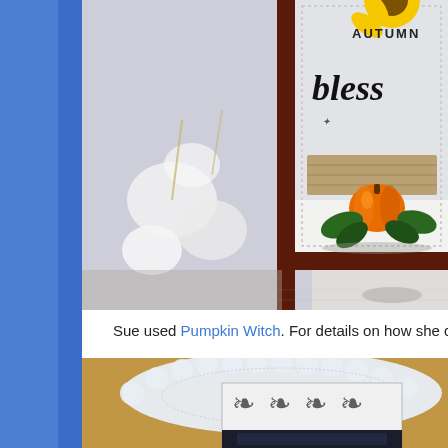[Figure (photo): Close-up photo of a craft card featuring an autumn harvest scene with a pumpkin, sunflower, and cursive 'Autumn Blessed' lettering, framed in dark maroon, placed on a distressed white wood surface]
Sue used Pumpkin Witch. For details on how she crea...
[Figure (photo): Photo of craft supplies including white lace doily, patterned paper with damask print in black and white, on a wooden surface]